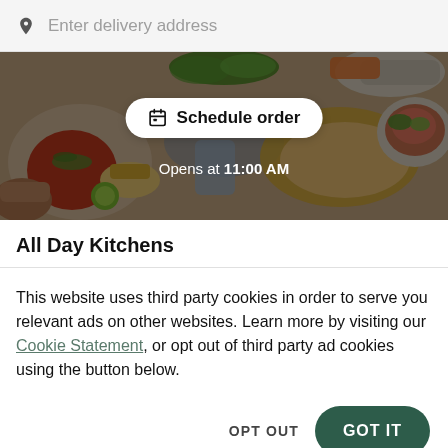Enter delivery address
[Figure (photo): Hero banner showing overhead view of various food dishes including soups, flatbreads, and salads on a table with a semi-transparent dark overlay. A 'Schedule order' button and 'Opens at 11:00 AM' text are overlaid on the image.]
All Day Kitchens
This website uses third party cookies in order to serve you relevant ads on other websites. Learn more by visiting our Cookie Statement, or opt out of third party ad cookies using the button below.
OPT OUT
GOT IT